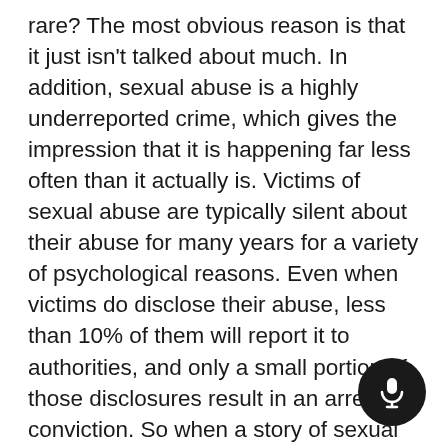rare? The most obvious reason is that it just isn't talked about much. In addition, sexual abuse is a highly underreported crime, which gives the impression that it is happening far less often than it actually is. Victims of sexual abuse are typically silent about their abuse for many years for a variety of psychological reasons. Even when victims do disclose their abuse, less than 10% of them will report it to authorities, and only a small portion of those disclosures result in an arrest or conviction. So when a story of sexual abuse actually makes headlines, you can be assured that it is representative of only a tiny fraction of the instances of child sexual abuse that are actually taking place.
Another reason child sexual abuse feels rare is our brains are most comfortable categorizing it as something that doesn't exist in ordinary life.